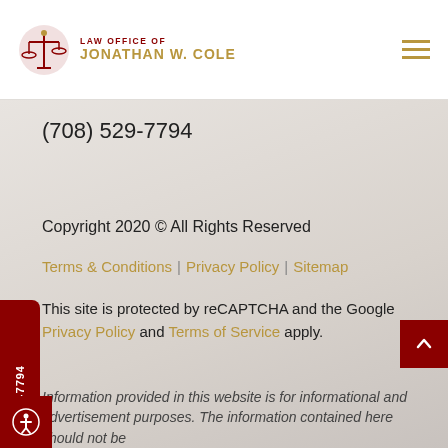Law Office of Jonathan W. Cole
(708) 529-7794
Copyright 2020 © All Rights Reserved
Terms & Conditions | Privacy Policy | Sitemap
This site is protected by reCAPTCHA and the Google Privacy Policy and Terms of Service apply.
(708) 529-7794
Information provided in this website is for informational and advertisement purposes. The information contained here should not be